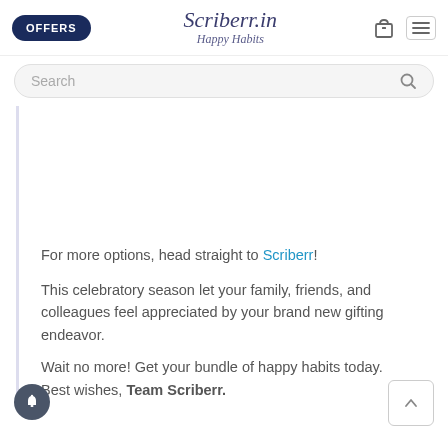OFFERS | Scriberr.in Happy Habits | [bag icon] [menu icon]
Search
For more options, head straight to Scriberr!
This celebratory season let your family, friends, and colleagues feel appreciated by your brand new gifting endeavor.
Wait no more! Get your bundle of happy habits today. Best wishes, Team Scriberr.